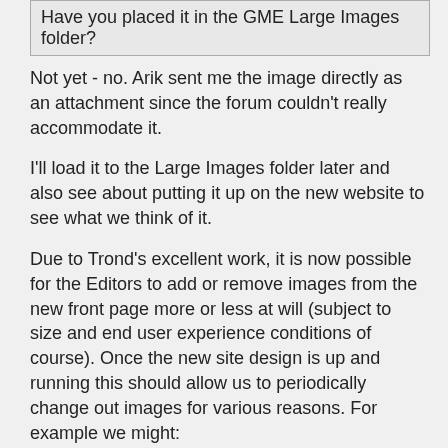Have you placed it in the GME Large Images folder?
Not yet - no. Arik sent me the image directly as an attachment since the forum couldn't really accommodate it.
I'll load it to the Large Images folder later and also see about putting it up on the new website to see what we think of it.
Due to Trond's excellent work, it is now possible for the Editors to add or remove images from the new front page more or less at will (subject to size and end user experience conditions of course). Once the new site design is up and running this should allow us to periodically change out images for various reasons. For example we might:
a) Change out the images in the cycle once a year or every quarter just to change up the look of the site.
b) Add/swap in images on a rolling basis when images we particularly like are created. Basically another part of